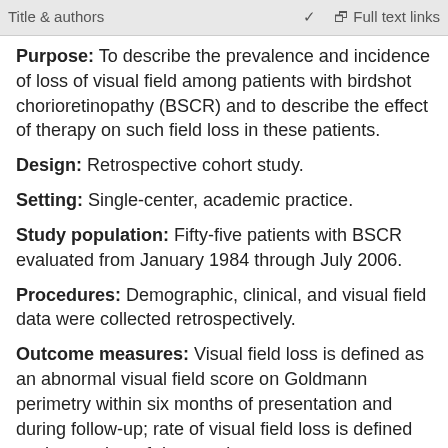Title & authors | Purpose: To describe the prevalence and incidence of | Full text links
Purpose: To describe the prevalence and incidence of loss of visual field among patients with birdshot chorioretinopathy (BSCR) and to describe the effect of therapy on such field loss in these patients.
Design: Retrospective cohort study.
Setting: Single-center, academic practice.
Study population: Fifty-five patients with BSCR evaluated from January 1984 through July 2006.
Procedures: Demographic, clinical, and visual field data were collected retrospectively.
Outcome measures: Visual field loss is defined as an abnormal visual field score on Goldmann perimetry within six months of presentation and during follow-up; rate of visual field loss is defined as the number of degrees lost per year.
Results: Forty-eight eyes of 24 patients had Goldmann